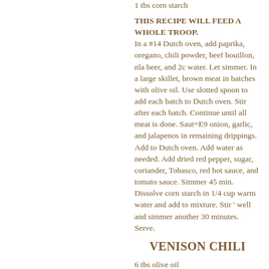1 tbs corn starch
THIS RECIPE WILL FEED A WHOLE TROOP. In a #14 Dutch oven, add paprika, oregano, chili powder, beef bouillon, nla beer, and 2c water. Let simmer. In a large skillet, brown meat in batches with olive oil. Use slotted spoon to add each batch to Dutch oven. Stir after each batch. Continue until all meat is done. Saut=E9 onion, garlic, and jalapenos in remaining drippings. Add to Dutch oven. Add water as needed. Add dried red pepper, sugar, coriander, Tobasco, red hot sauce, and tomato sauce. Simmer 45 min. Dissolve corn starch in 1/4 cup warm water and add to mixture. Stir ' well and simmer another 30 minutes. Serve.
VENISON CHILI
6 tbs olive oil
2 large onions, chopped